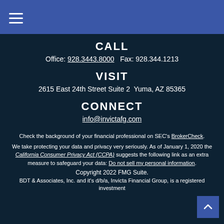Navigation menu / hamburger icon
CALL
Office: 928.3443.8000    Fax: 928.344.1213
VISIT
2615 East 24th Street Suite 2  Yuma, AZ 85365
CONNECT
info@invictafg.com
Check the background of your financial professional on SEC's BrokerCheck.
We take protecting your data and privacy very seriously. As of January 1, 2020 the California Consumer Privacy Act (CCPA) suggests the following link as an extra measure to safeguard your data: Do not sell my personal information.
Copyright 2022 FMG Suite.
BDT & Associates, Inc. and it's d/b/a, Invicta Financial Group, is a registered investment